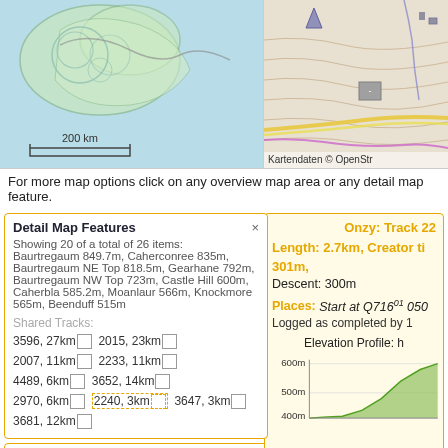[Figure (map): Left: overview map showing coastal area with green/teal landmass outlines on light blue background, with a 200km scale bar. Right: topographic detail map with contour lines, roads, and 'Kartendaten © OpenStr' credit.]
For more map options click on any overview map area or any detail map feature.
Detail Map Features
Showing 20 of a total of 26 items: Baurtregaum 849.7m, Caherconree 835m, Baurtregaum NE Top 818.5m, Gearhane 792m, Baurtregaum NW Top 723m, Castle Hill 600m, Caherbla 585.2m, Moanlaur 566m, Knockmore 565m, Beenduff 515m
Shared Tracks:
3596, 27km  2015, 23km
2007, 11km  2233, 11km
4489, 6km  3652, 14km
2970, 6km  2240, 3km  3647, 3km
3681, 12km
Onzy: Track 22
Length: 2.7km, Creator ti... 301m, Descent: 300m
Places: Start at Q71601 0501 Logged as completed by 1
[Figure (area-chart): Elevation profile chart showing height in metres (400m-600m range) vs distance, with green filled area showing terrain profile going upward.]
Find Suggested Walks